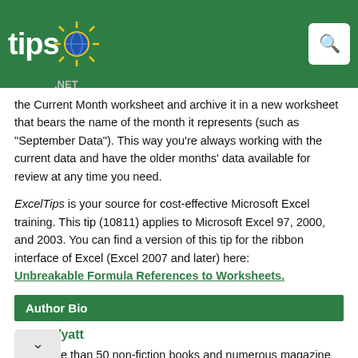tips.net
the Current Month worksheet and archive it in a new worksheet that bears the name of the month it represents (such as "September Data"). This way you're always working with the current data and have the older months' data available for review at any time you need.
ExcelTips is your source for cost-effective Microsoft Excel training. This tip (10811) applies to Microsoft Excel 97, 2000, and 2003. You can find a version of this tip for the ribbon interface of Excel (Excel 2007 and later) here: Unbreakable Formula References to Worksheets.
Author Bio
Allen Wyatt
With more than 50 non-fiction books and numerous magazine articles to his credit, Allen Wyatt is an internationally recognized author. He is president of Sharon Parq Associates, a computer and publishing services company. Learn more about Allen...